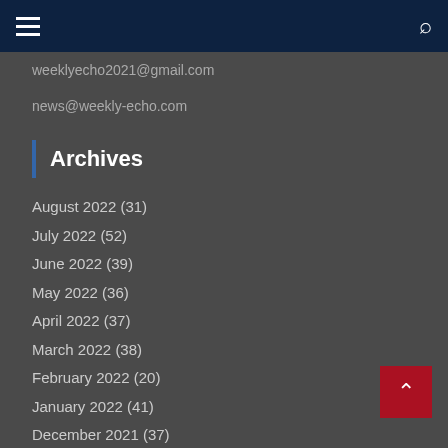weeklyecho2021@gmail.com
news@weekly-echo.com
Archives
August 2022 (31)
July 2022 (52)
June 2022 (39)
May 2022 (36)
April 2022 (37)
March 2022 (38)
February 2022 (20)
January 2022 (41)
December 2021 (37)
November 2021 (38)
October 2021 (41)